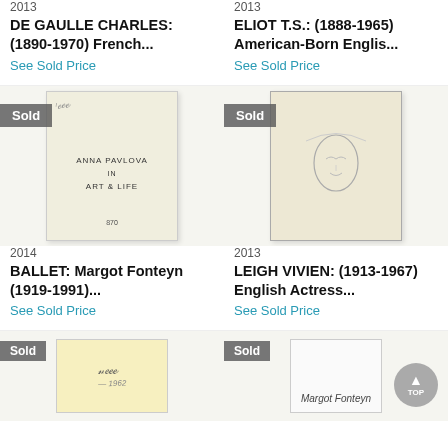2013
DE GAULLE CHARLES: (1890-1970) French...
See Sold Price
2013
ELIOT T.S.: (1888-1965) American-Born Englis...
See Sold Price
[Figure (photo): Book page showing 'Anna Pavlova in Art & Life' title page with handwritten inscription, Sold badge overlay]
[Figure (photo): Open book page with pencil sketch/drawing, Sold badge overlay]
2014
BALLET: Margot Fonteyn (1919-1991)...
See Sold Price
2013
LEIGH VIVIEN: (1913-1967) English Actress...
See Sold Price
[Figure (photo): Yellow notepad with handwritten signature, Sold badge overlay]
[Figure (photo): White paper with cursive signature, Sold badge overlay]